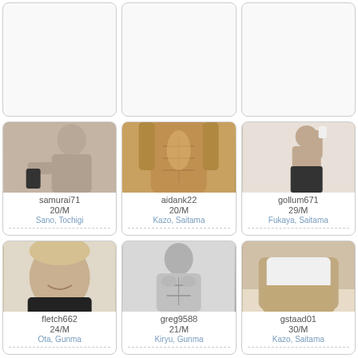[Figure (photo): Empty profile card top-left]
[Figure (photo): Empty profile card top-center]
[Figure (photo): Empty profile card top-right]
[Figure (photo): Profile photo of samurai71, young male shirtless selfie]
samurai71
20/M
Sano, Tochigi
[Figure (photo): Profile photo of aidank22, male torso oiled]
aidank22
20/M
Kazo, Saitama
[Figure (photo): Profile photo of gollum671, male mirror selfie in shorts]
gollum671
29/M
Fukaya, Saitama
[Figure (photo): Empty bottom area of samurai71 card]
[Figure (photo): Empty bottom area of aidank22 card]
[Figure (photo): Empty bottom area of gollum671 card]
[Figure (photo): Profile photo of fletch662, young male smiling]
fletch662
24/M
Ota, Gunma
[Figure (photo): Profile photo of greg9588, black and white male torso]
greg9588
21/M
Kiryu, Gunma
[Figure (photo): Profile photo of gstaad01]
gstaad01
30/M
Kazo, Saitama